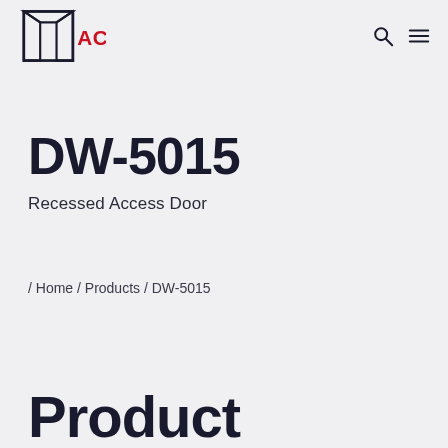ACUDOR — navigation header with logo, search, and menu icons
DW-5015
Recessed Access Door
/ Home / Products / DW-5015
Product Overview (partial)